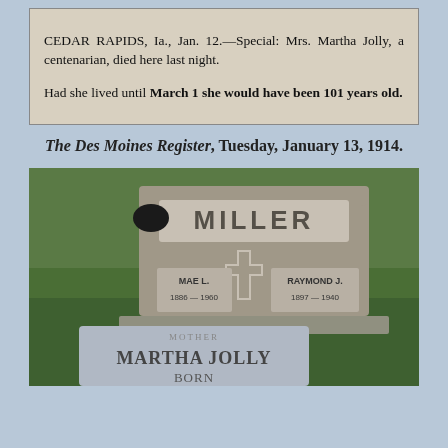[Figure (photo): Newspaper clipping showing text about CEDAR RAPIDS, Ia., Jan. 12 – Special: Mrs. Martha Jolly, a centenarian, died here last night. Had she lived until March 1 she would have been 101 years old.]
The Des Moines Register, Tuesday, January 13, 1914.
[Figure (photo): Photograph of cemetery gravestones. Background stone reads MILLER with MAE L. 1886 – 1960 on left and RAYMOND J. 1897 – 1940 on right, with a cross in the center. Foreground smaller stone reads MARTHA JOLLY BORN (text cut off at bottom).]